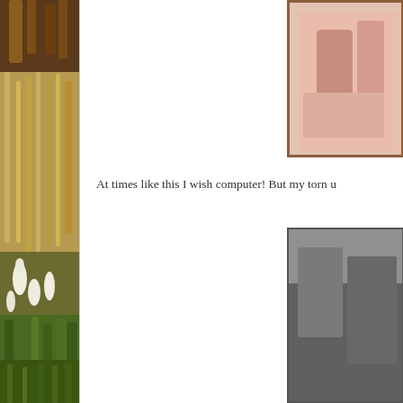[Figure (photo): Tall dried grassy plants and foliage with white drooping flowers, photographed in natural outdoor setting]
[Figure (photo): Framed photo or picture on a wall — partial view, warm wooden frame visible, content partially cut off at right edge]
At times like this I wish computer! But my torn u
[Figure (photo): Partially visible photo in a thin dark frame at bottom right — subject indistinct, image cut off at right edge]